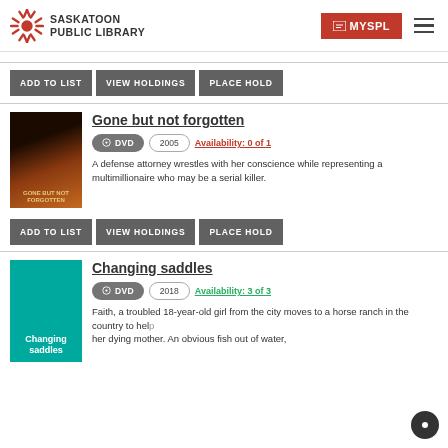Saskatoon Public Library — MYSPL
ADD TO LIST  VIEW HOLDINGS  PLACE HOLD
Gone but not forgotten
DVD  2005  Availability: 0 of 1
A defense attorney wrestles with her conscience while representing a multimillionaire who may be a serial killer.
ADD TO LIST  VIEW HOLDINGS  PLACE HOLD
Changing saddles
DVD  2018  Availability: 3 of 3
Faith, a troubled 18-year-old girl from the city moves to a horse ranch in the country to help her dying mother. An obvious fish out of water,